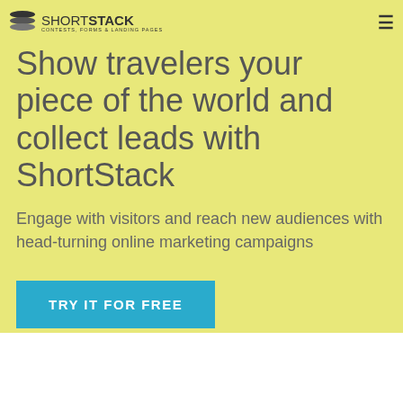ShortStack — Contests, Forms & Landing Pages
Show travelers your piece of the world and collect leads with ShortStack
Engage with visitors and reach new audiences with head-turning online marketing campaigns
TRY IT FOR FREE